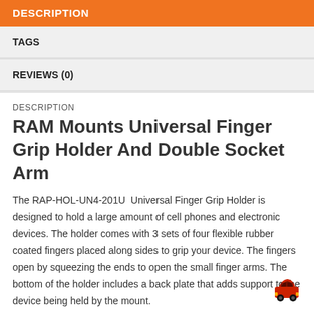DESCRIPTION
TAGS
REVIEWS (0)
DESCRIPTION
RAM Mounts Universal Finger Grip Holder And Double Socket Arm
The RAP-HOL-UN4-201U  Universal Finger Grip Holder is designed to hold a large amount of cell phones and electronic devices. The holder comes with 3 sets of four flexible rubber coated fingers placed along sides to grip your device. The fingers open by squeezing the ends to open the small finger arms. The bottom of the holder includes a back plate that adds support to the device being held by the mount.